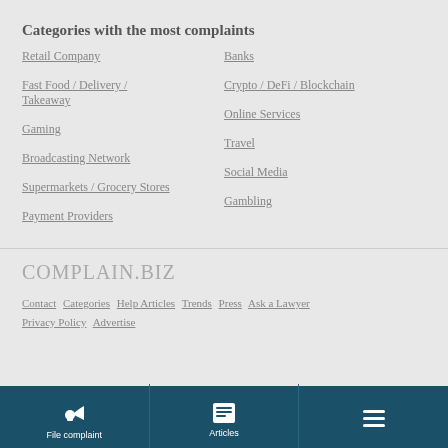Categories with the most complaints
Retail Company
Fast Food / Delivery / Takeaway
Gaming
Broadcasting Network
Supermarkets / Grocery Stores
Payment Providers
Banks
Crypto / DeFi / Blockchain
Online Services
Travel
Social Media
Gambling
COMPLAIN.BIZ
Contact  Categories  Help Articles  Trends  Press  Ask a Lawyer  Privacy Policy  Advertise
File complaint  Articles